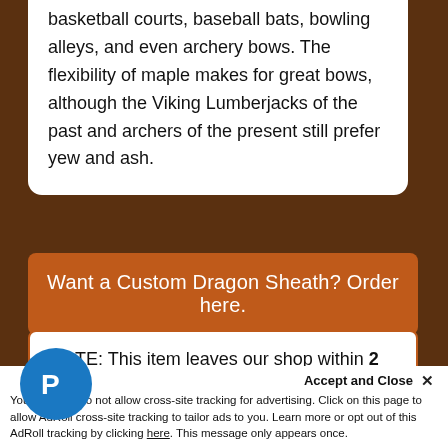basketball courts, baseball bats, bowling alleys, and even archery bows. The flexibility of maple makes for great bows, although the Viking Lumberjacks of the past and archers of the present still prefer yew and ash.
Want a Custom Dragon Sheath? Order here.
NOTE: This item leaves our shop within 2 to 4 business days. (Need it sooner? Email
Accept and Close ✕
Your settings do not allow cross-site tracking for advertising. Click on this page to allow AdRoll cross-site tracking to tailor ads to you. Learn more or opt out of this AdRoll tracking by clicking here. This message only appears once.